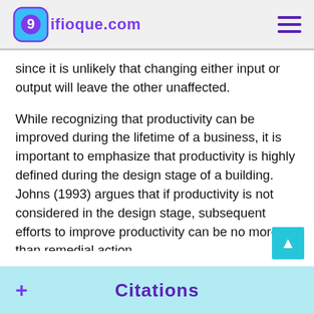ifioque.com
since it is unlikely that changing either input or output will leave the other unaffected.
While recognizing that productivity can be improved during the lifetime of a business, it is important to emphasize that productivity is highly defined during the design stage of a building. Johns (1993) argues that if productivity is not considered in the design stage, subsequent efforts to improve productivity can be no more than remedial action.
+ Citations